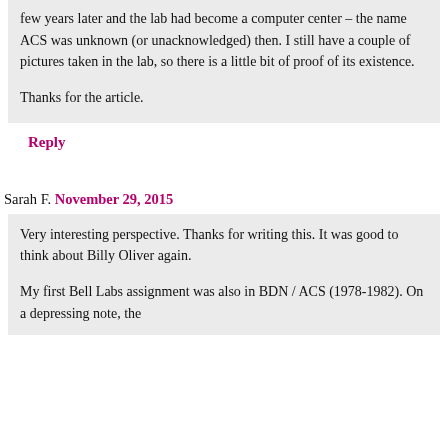few years later and the lab had become a computer center – the name ACS was unknown (or unacknowledged) then. I still have a couple of pictures taken in the lab, so there is a little bit of proof of its existence.

Thanks for the article.
Reply
Sarah F. November 29, 2015
Very interesting perspective. Thanks for writing this. It was good to think about Billy Oliver again.

My first Bell Labs assignment was also in BDN / ACS (1978-1982). On a depressing note, the